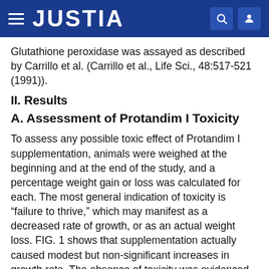JUSTIA
Glutathione peroxidase was assayed as described by Carrillo et al. (Carrillo et al., Life Sci., 48:517-521 (1991)).
II. Results
A. Assessment of Protandim I Toxicity
To assess any possible toxic effect of Protandim I supplementation, animals were weighed at the beginning and at the end of the study, and a percentage weight gain or loss was calculated for each. The most general indication of toxicity is “failure to thrive,” which may manifest as a decreased rate of growth, or as an actual weight loss. FIG. 1 shows that supplementation actually caused modest but non-significant increases in growth rate. The absence of toxicity was evidenced as failure to thrive at any level of Protandim I